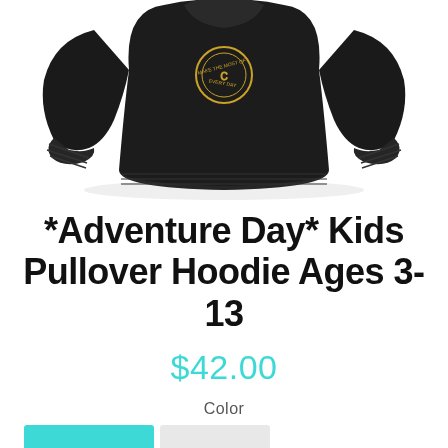[Figure (photo): Black kids pullover hoodie/sweatshirt laid flat, showing front with a circular graphic design in gold on the chest, long sleeves with ribbed cuffs, displayed against a white background.]
*Adventure Day* Kids Pullover Hoodie Ages 3-13
$42.00
Color